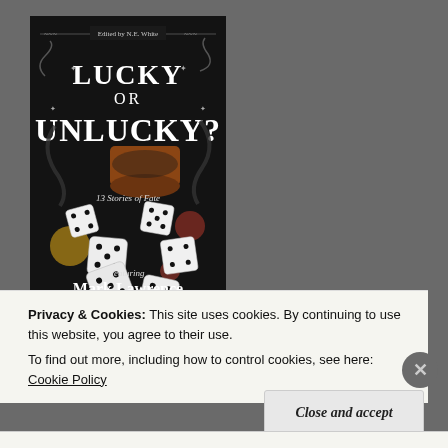[Figure (illustration): Book cover for 'Lucky or Unlucky? 13 Stories of Fate', edited by N.E. White, featuring Mark Lawrence. Dark background with dice spilling from a cup and stylized title text.]
Privacy & Cookies: This site uses cookies. By continuing to use this website, you agree to their use.
To find out more, including how to control cookies, see here: Cookie Policy
Close and accept